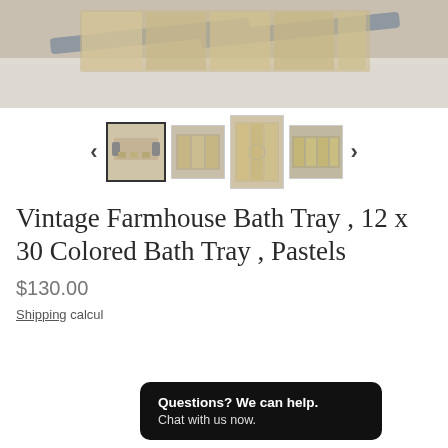[Figure (photo): Top portion of a bathtub with a wooden bath tray/caddy resting across it, showing the tray with gray rails]
[Figure (photo): Thumbnail gallery row showing four product photos of the vintage farmhouse bath tray from different angles, with left and right navigation arrows]
Vintage Farmhouse Bath Tray , 12 x 30 Colored Bath Tray , Pastels
$130.00
Shipping calculated at checkout